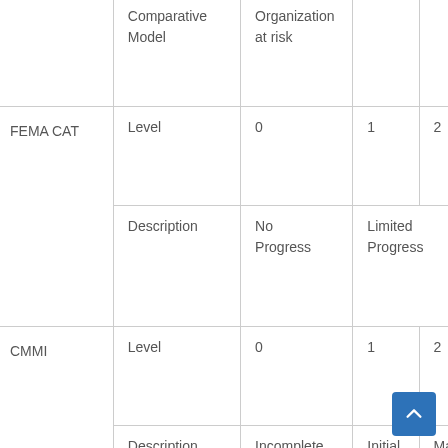|  | Comparative Model | Organization at risk | 1 | 2 | 3 | 4 |
| --- | --- | --- | --- | --- | --- | --- |
| FEMA CAT | Level | 0 | 1 | 2 | 3 | 4 |
|  | Description | No Progress | Limited Progress | M... |  |  |
| CMMI | Level | 0 | 1 | 2 |  |  |
|  | Description | Incomplete | Initial | Managed |  |  |